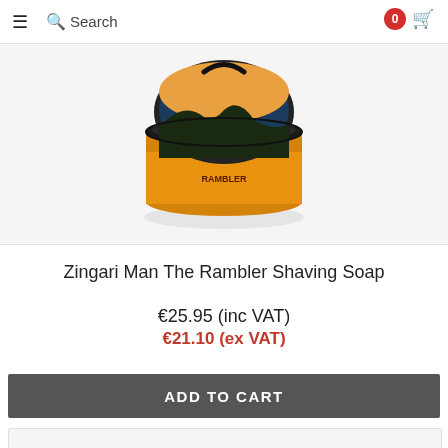≡  🔍 Search   0  🛒
[Figure (photo): Product photo of Zingari Man The Rambler Shaving Soap — a round black tin with an orange label showing a landscape scene, viewed from above at an angle.]
Zingari Man The Rambler Shaving Soap
€25.95 (inc VAT)
€21.10 (ex VAT)
ADD TO CART